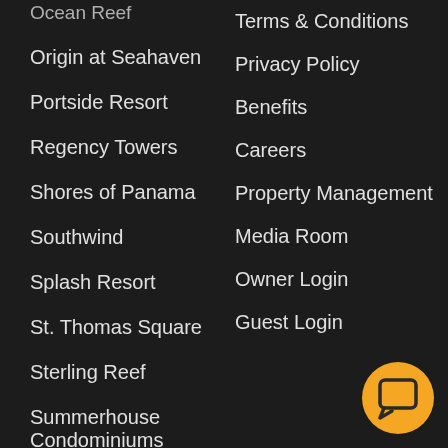Ocean Reef
Origin at Seahaven
Portside Resort
Regency Towers
Shores of Panama
Southwind
Splash Resort
St. Thomas Square
Sterling Reef
Summerhouse Condominiums
Summit Beach Resort
Terms & Conditions
Privacy Policy
Benefits
Careers
Property Management
Media Room
Owner Login
Guest Login
[Figure (illustration): Yellow circular chat/message button icon in bottom-right corner]